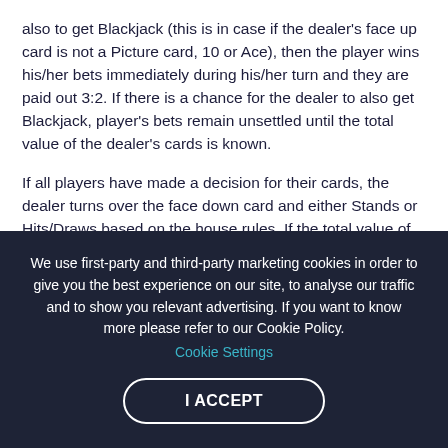also to get Blackjack (this is in case if the dealer's face up card is not a Picture card, 10 or Ace), then the player wins his/her bets immediately during his/her turn and they are paid out 3:2. If there is a chance for the dealer to also get Blackjack, player's bets remain unsettled until the total value of the dealer's cards is known.
If all players have made a decision for their cards, the dealer turns over the face down card and either Stands or Hits/Draws based on the house rules. If the total value of the dealer's cards exceeds 21, the dealer Busts and all unsettled bets are considered as winning bets.
We use first-party and third-party marketing cookies in order to give you the best experience on our site, to analyse our traffic and to show you relevant advertising. If you want to know more please refer to our Cookie Policy. Cookie Settings
I ACCEPT